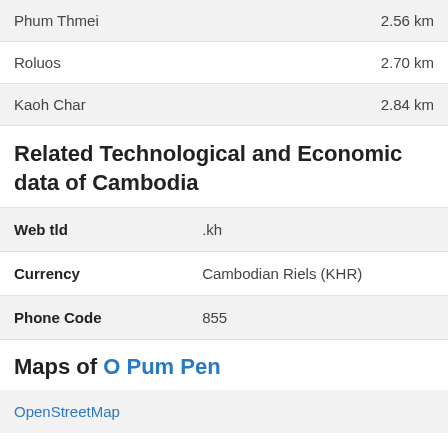| Place | Distance |
| --- | --- |
| Phum Thmei | 2.56 km |
| Roluos | 2.70 km |
| Kaoh Char | 2.84 km |
Related Technological and Economic data of Cambodia
| Key | Value |
| --- | --- |
| Web tld | .kh |
| Currency | Cambodian Riels (KHR) |
| Phone Code | 855 |
Maps of O Pum Pen
OpenStreetMap